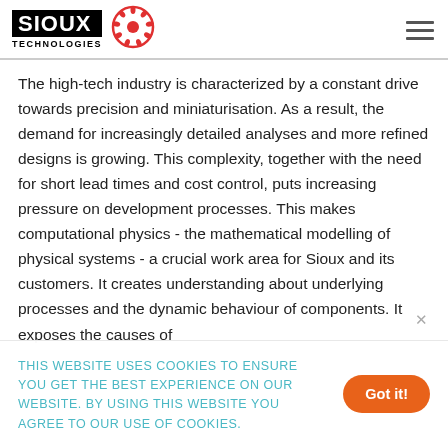SIOUX TECHNOLOGIES
The high-tech industry is characterized by a constant drive towards precision and miniaturisation. As a result, the demand for increasingly detailed analyses and more refined designs is growing. This complexity, together with the need for short lead times and cost control, puts increasing pressure on development processes. This makes computational physics - the mathematical modelling of physical systems - a crucial work area for Sioux and its customers. It creates understanding about underlying processes and the dynamic behaviour of components. It exposes the causes of
THIS WEBSITE USES COOKIES TO ENSURE YOU GET THE BEST EXPERIENCE ON OUR WEBSITE. BY USING THIS WEBSITE YOU AGREE TO OUR USE OF COOKIES.